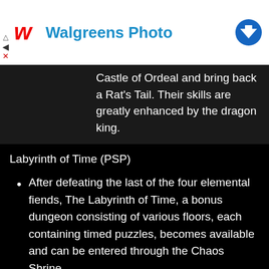[Figure (other): Walgreens Photo advertisement banner with red cursive logo, blue text, and blue arrow icon]
of the Light Warriors through a test. They enter the Castle of Ordeal and bring back a Rat's Tail. Their skills are greatly enhanced by the dragon king.
Labyrinth of Time (PSP)
After defeating the last of the four elemental fiends, The Labyrinth of Time, a bonus dungeon consisting of various floors, each containing timed puzzles, becomes available and can be entered through the Chaos Shrine.
A finite number of abilities such as "Flee" and "Magic" may be sacrificed to the Light of Time orb in order to gain more time on a given floor. Running out of time causes the party to start losing health and encounters to become more frequent. Failing a